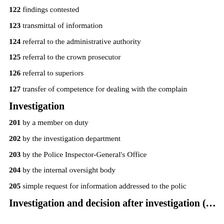122 findings contested
123 transmittal of information
124 referral to the administrative authority
125 referral to the crown prosecutor
126 referral to superiors
127 transfer of competence for dealing with the complaint
Investigation
201 by a member on duty
202 by the investigation department
203 by the Police Inspector-General's Office
204 by the internal oversight body
205 simple request for information addressed to the police
Investigation and decision after investigation (…